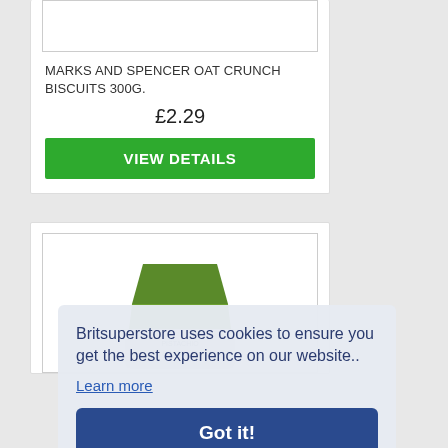[Figure (photo): White product image box, empty/blank top section of product card]
MARKS AND SPENCER OAT CRUNCH BISCUITS 300G.
£2.29
VIEW DETAILS
[Figure (photo): Partial image of a Marks and Spencer Pistachio Almond snack packet with green top, white/grey lower body]
Britsuperstore uses cookies to ensure you get the best experience on our website..
Learn more
Got it!